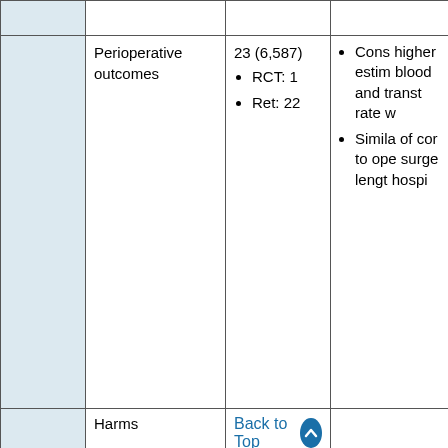|  | Outcome | Studies (N) | Findings |
| --- | --- | --- | --- |
|  | Perioperative outcomes | 23 (6,587)
• RCT: 1
• Ret: 22 | • Cons higher estim blood and transt rate w
• Simila of cor to ope surge lengt hospi |
|  | Harms | (16,065) | showi |